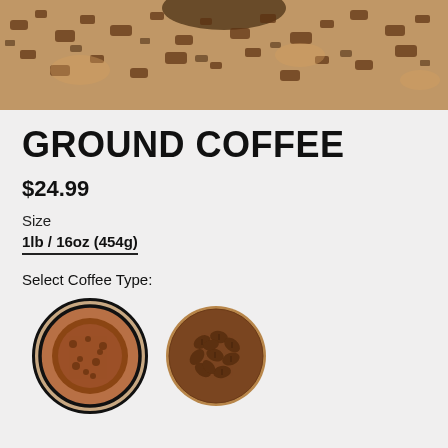[Figure (photo): Top portion of a coffee product photo showing ground coffee/coffee grounds scattered around a dark bowl, cropped at top of page]
GROUND COFFEE
$24.99
Size
1lb / 16oz (454g)
Select Coffee Type:
[Figure (photo): Two circular coffee type selector images: left circle (selected, with bold border) showing ground coffee powder in brown/reddish tone; right circle showing whole coffee beans]